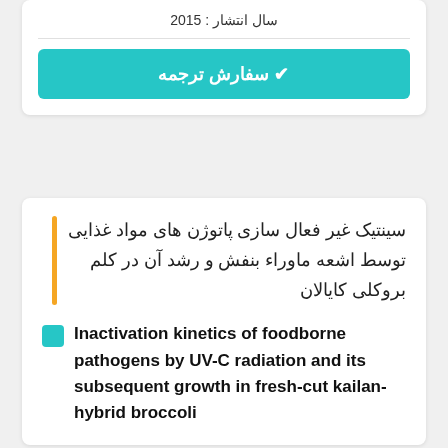سال انتشار : 2015
✔ سفارش ترجمه
سینتیک غیر فعال سازی پاتوژن های مواد غذایی توسط اشعه ماوراء بنفش و رشد آن در کلم بروکلی کایالان
Inactivation kinetics of foodborne pathogens by UV-C radiation and its subsequent growth in fresh-cut kailan-hybrid broccoli